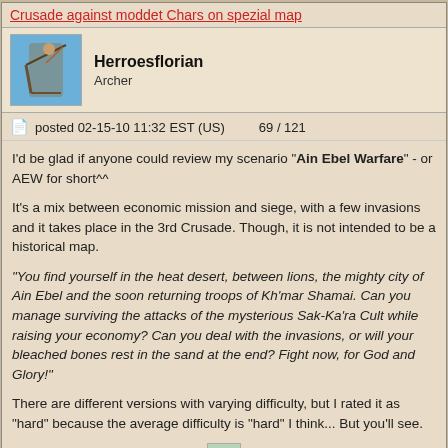Crusade against moddet Chars on spezial map
Herroesflorian
Archer
posted 02-15-10 11:32 EST (US)   69 / 121
I'd be glad if anyone could review my scenario "Ain Ebel Warfare" - or AEW for short^^
It's a mix between economic mission and siege, with a few invasions and it takes place in the 3rd Crusade. Though, it is not intended to be a historical map.
"You find yourself in the heat desert, between lions, the mighty city of Ain Ebel and the soon returning troops of Kh'mar Shamai. Can you manage surviving the attacks of the mysterious Sak-Ka'ra Cult while raising your economy? Can you deal with the invasions, or will your bleached bones rest in the sand at the end? Fight now, for God and Glory!"
There are different versions with varying difficulty, but I rated it as "hard" because the average difficulty is "hard" I think... But you'll see.
[Figure (illustration): Small thumbnail image of a panoramic map view]
- Panoramic view of the map -
Click to enlarge